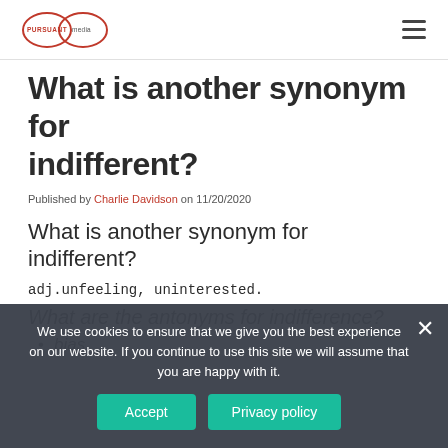Pursuant Media logo and navigation menu
What is another synonym for indifferent?
Published by Charlie Davidson on 11/20/2020
What is another synonym for indifferent?
adj.unfeeling, uninterested.
What are the antonyms for indifference?
bias.
We use cookies to ensure that we give you the best experience on our website. If you continue to use this site we will assume that you are happy with it.